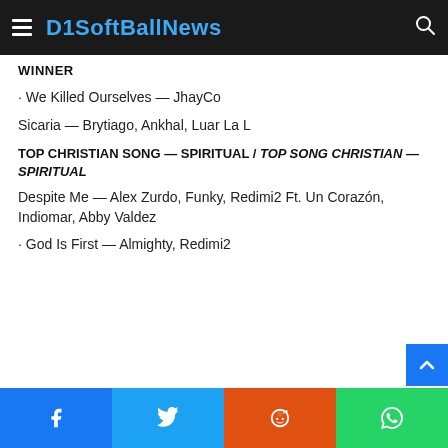D1SoftBallNews
WINNER
· We Killed Ourselves — JhayCo
Sicaria — Brytiago, Ankhal, Luar La L
TOP CHRISTIAN SONG — SPIRITUAL / TOP SONG CHRISTIAN — SPIRITUAL
Despite Me — Alex Zurdo, Funky, Redimi2 Ft. Un Corazón, Indiomar, Abby Valdez
· God Is First — Almighty, Redimi2
Social share buttons: Facebook, Twitter, Reddit, WhatsApp